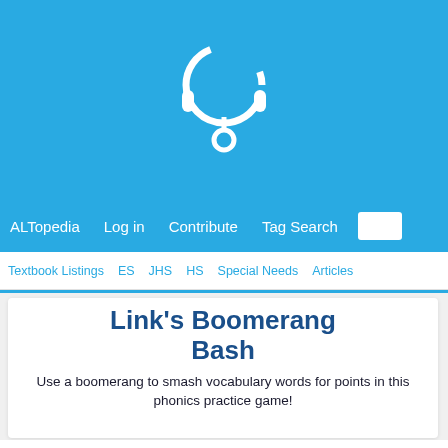[Figure (logo): ALTopedia logo: white lightbulb/headphone icon on blue background]
ALTopedia   Log in   Contribute   Tag Search
Textbook Listings   ES   JHS   HS   Special Needs   Articles
Link's Boomerang Bash
Use a boomerang to smash vocabulary words for points in this phonics practice game!
Objective: Practice reading and pronouncing newly introduced vocab for points.